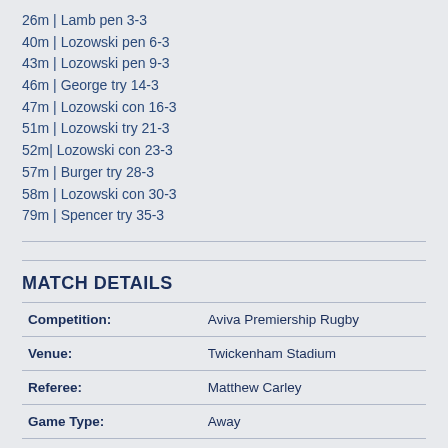26m | Lamb pen 3-3
40m | Lozowski pen 6-3
43m | Lozowski pen 9-3
46m | George try 14-3
47m | Lozowski con 16-3
51m | Lozowski try 21-3
52m| Lozowski con 23-3
57m | Burger try 28-3
58m | Lozowski con 30-3
79m | Spencer try 35-3
MATCH DETAILS
|  |  |
| --- | --- |
| Competition: | Aviva Premiership Rugby |
| Venue: | Twickenham Stadium |
| Referee: | Matthew Carley |
| Game Type: | Away |
| Fixture Round: | 1 |